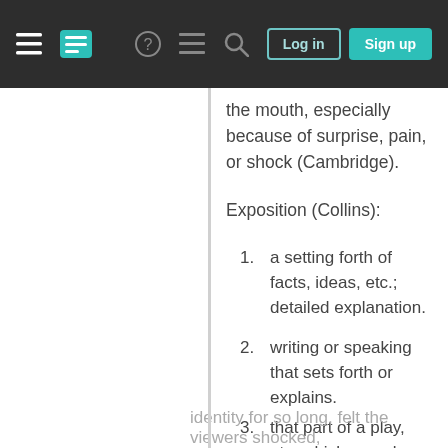Stack Exchange navigation bar with hamburger menu, logo, help, chat, search icons, Log in and Sign up buttons
the mouth, especially because of surprise, pain, or shock (Cambridge).
Exposition (Collins):
1. a setting forth of facts, ideas, etc.; detailed explanation.
2. writing or speaking that sets forth or explains.
3. that part of a play, etc. which reveals what has happened before, who the
Your privacy
By clicking "Accept all cookies", you agree Stack Exchange can store cookies on your device and disclose information in accordance with our Cookie Policy.
identity for so long, felt the viewers shocked,